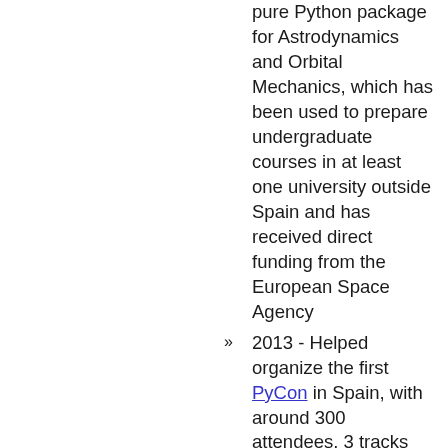pure Python package for Astrodynamics and Orbital Mechanics, which has been used to prepare undergraduate courses in at least one university outside Spain and has received direct funding from the European Space Agency
2013 - Helped organize the first PyCon in Spain, with around 300 attendees, 3 tracks (including one scientific track) and all its videos available